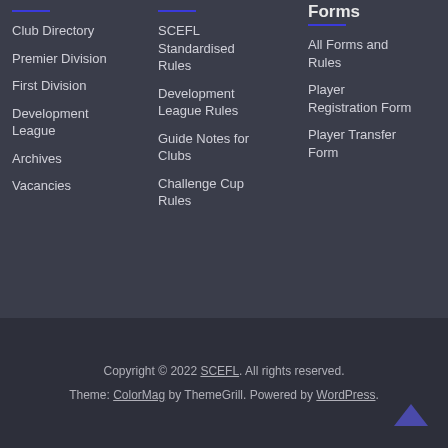Club Directory
Premier Division
First Division
Development League
Archives
Vacancies
SCEFL Standardised Rules
Development League Rules
Guide Notes for Clubs
Challenge Cup Rules
Forms
All Forms and Rules
Player Registration Form
Player Transfer Form
Copyright © 2022 SCEFL. All rights reserved. Theme: ColorMag by ThemeGrill. Powered by WordPress.